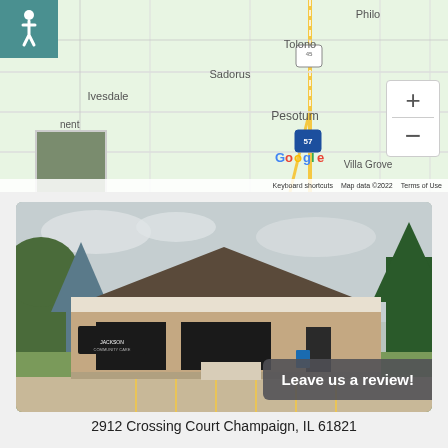[Figure (map): Google Maps view showing area around Pesotum, Illinois with towns Philo, Tolono, Sadorus, Ivesdale visible. Highway 45 and Interstate 57 shown. Map data ©2022. Zoom controls and thumbnail inset visible.]
[Figure (photo): Exterior photo of a brick office building with dark hip roof, large windows, and Jackson company signage. Parking lot in foreground, trees in background, overcast sky.]
Leave us a review!
2912 Crossing Court Champaign, IL 61821